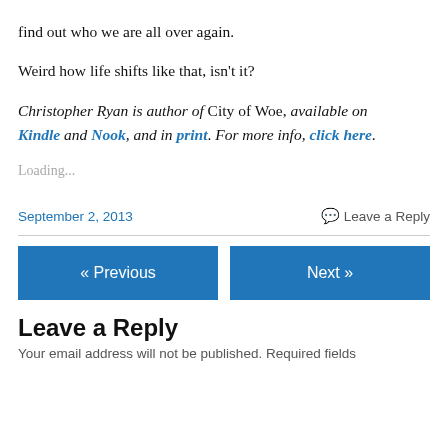find out who we are all over again.
Weird how life shifts like that, isn't it?
Christopher Ryan is author of City of Woe, available on Kindle and Nook, and in print. For more info, click here.
Loading...
September 2, 2013
Leave a Reply
« Previous
Next »
Leave a Reply
Your email address will not be published. Required fields